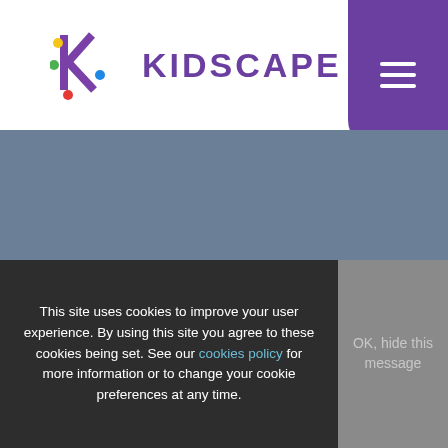[Figure (logo): Kidscape charity logo with colorful K icon and purple KIDSCAPE text]
Reg Charity no.
326864
GET INVOLVED
NEWS
RESOURCES
CONTACT
This site uses cookies to improve your user experience. By using this site you agree to these cookies being set. See our cookies policy for more information or to change your cookie preferences at any time.
OK, hide this message